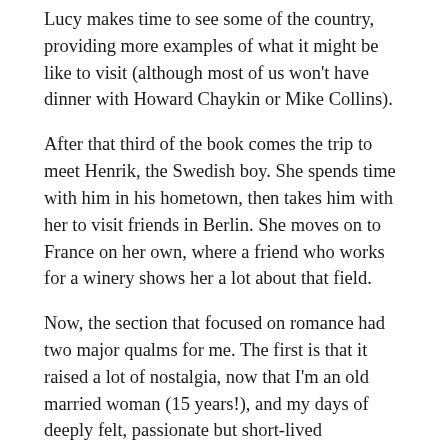Lucy makes time to see some of the country, providing more examples of what it might be like to visit (although most of us won't have dinner with Howard Chaykin or Mike Collins).
After that third of the book comes the trip to meet Henrik, the Swedish boy. She spends time with him in his hometown, then takes him with her to visit friends in Berlin. She moves on to France on her own, where a friend who works for a winery shows her a lot about that field.
Now, the section that focused on romance had two major qualms for me. The first is that it raised a lot of nostalgia, now that I'm an old married woman (15 years!), and my days of deeply felt, passionate but short-lived relationships are a long while ago. That's ok. I love comics that show you what it's like to have an experience far removed from your own, and the